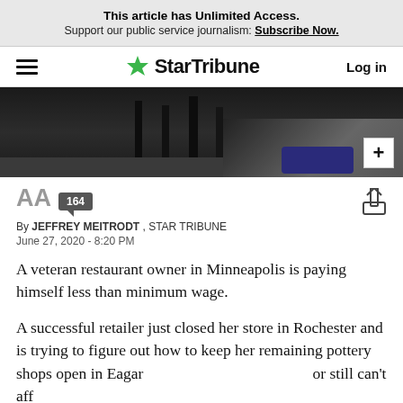This article has Unlimited Access. Support our public service journalism: Subscribe Now.
StarTribune — Log in
[Figure (photo): Dark interior photo of a restaurant bar area showing bar stools and a person's feet/shoes near the floor, with a zoom/expand button in the lower right corner.]
AA  164
By JEFFREY MEITRODT , STAR TRIBUNE
June 27, 2020 - 8:20 PM
A veteran restaurant owner in Minneapolis is paying himself less than minimum wage.
A successful retailer just closed her store in Rochester and is trying to figure out how to keep her remaining pottery shops open in Eagar                                                                     or still can't aff